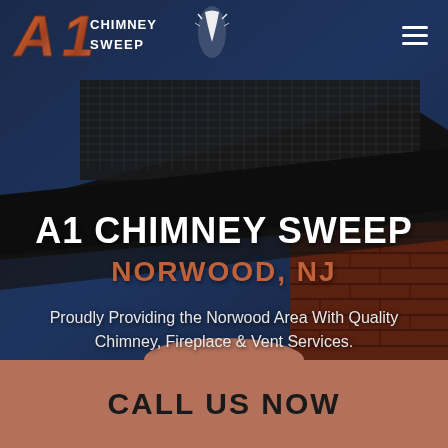[Figure (screenshot): Hero section of A1 Chimney Sweep website showing a dark blue background with a chimney/fireplace cap image, brick wall on the right side, and a metal mesh vent visible]
A1 CHIMNEY SWEEP
NORWOOD, NJ
Proudly Providing the Norwood Area With Quality Chimney, Fireplace & Vent Services.
CALL US NOW